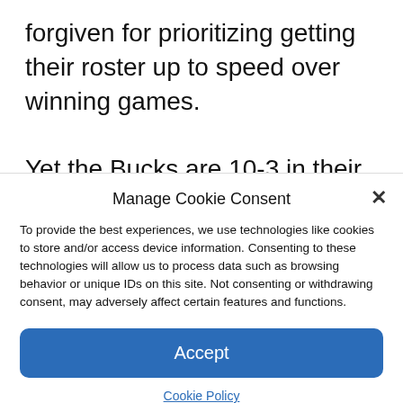forgiven for prioritizing getting their roster up to speed over winning games.

Yet the Bucks are 10-3 in their last 13, and when they've had all three of their stars, they've looked as strong as ever. That trio is outscoring opponents by nearly 10 points
Manage Cookie Consent
To provide the best experiences, we use technologies like cookies to store and/or access device information. Consenting to these technologies will allow us to process data such as browsing behavior or unique IDs on this site. Not consenting or withdrawing consent, may adversely affect certain features and functions.
Accept
Cookie Policy